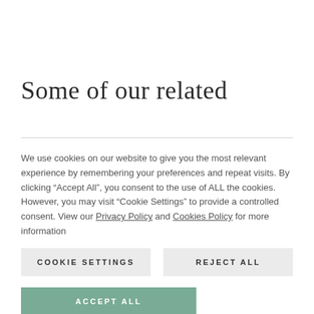Some of our related
We use cookies on our website to give you the most relevant experience by remembering your preferences and repeat visits. By clicking “Accept All”, you consent to the use of ALL the cookies. However, you may visit “Cookie Settings” to provide a controlled consent. View our Privacy Policy and Cookies Policy for more information
COOKIE SETTINGS
REJECT ALL
ACCEPT ALL